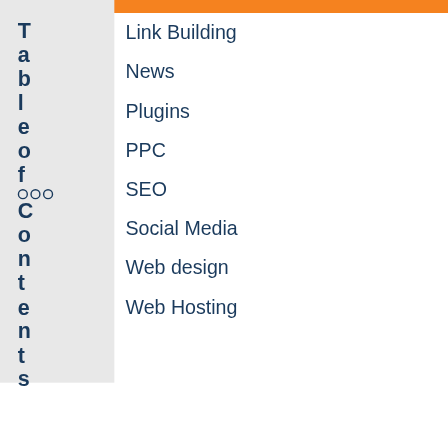Link Building
News
Plugins
PPC
SEO
Social Media
Web design
Web Hosting
Table of Contents
rch
Search Here...
Share